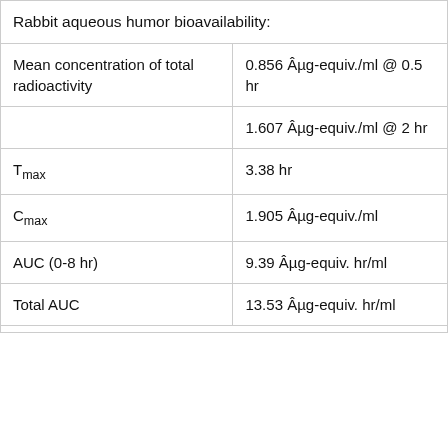|  |  |
| --- | --- |
| Rabbit aqueous humor bioavailability: |  |
| Mean concentration of total radioactivity | 0.856 Âµg-equiv./ml @ 0.5 hr |
|  | 1.607 Âµg-equiv./ml @ 2 hr |
| Tmax | 3.38 hr |
| Cmax | 1.905 Âµg-equiv./ml |
| AUC (0-8 hr) | 9.39 Âµg-equiv. hr/ml |
| Total AUC | 13.53 Âµg-equiv. hr/ml |